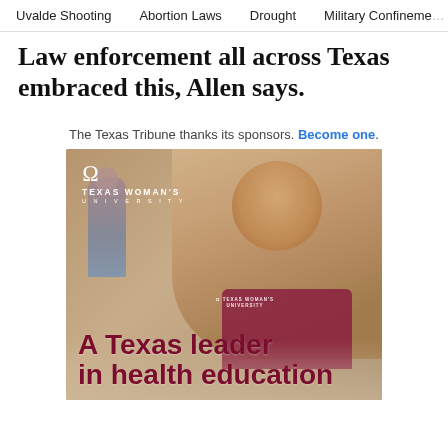Uvalde Shooting   Abortion Laws   Drought   Military Confinement
Law enforcement all across Texas embraced this, Allen says.
The Texas Tribune thanks its sponsors. Become one.
[Figure (photo): Texas Woman's University advertisement showing a smiling young Black woman wearing a maroon TWU t-shirt in a bright indoor setting. Text overlay reads 'A Texas leader in health education' in maroon bold font. TWU logo with longhorn symbol appears in white at top left.]